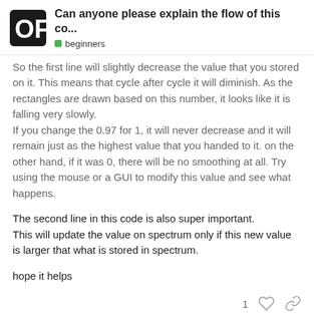Can anyone please explain the flow of this co... | beginners
So the first line will slightly decrease the value that you stored on it. This means that cycle after cycle it will diminish. As the rectangles are drawn based on this number, it looks like it is falling very slowly.
If you change the 0.97 for 1, it will never decrease and it will remain just as the highest value that you handed to it. on the other hand, if it was 0, there will be no smoothing at all. Try using the mouse or a GUI to modify this value and see what happens.
The second line in this code is also super important.
This will update the value on spectrum only if this new value is larger that what is stored in spectrum.
hope it helps
abey
3 / 5